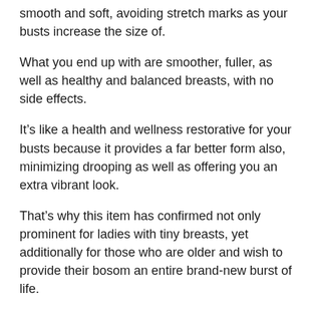smooth and soft, avoiding stretch marks as your busts increase the size of.
What you end up with are smoother, fuller, as well as healthy and balanced breasts, with no side effects.
It’s like a health and wellness restorative for your busts because it provides a far better form also, minimizing drooping as well as offering you an extra vibrant look.
That’s why this item has confirmed not only prominent for ladies with tiny breasts, yet additionally for those who are older and wish to provide their bosom an entire brand-new burst of life.